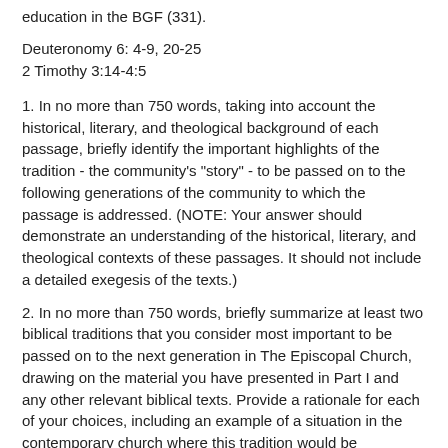education in the BGF (331).
Deuteronomy 6: 4-9, 20-25
2 Timothy 3:14-4:5
1. In no more than 750 words, taking into account the historical, literary, and theological background of each passage, briefly identify the important highlights of the tradition - the community's "story" - to be passed on to the following generations of the community to which the passage is addressed. (NOTE: Your answer should demonstrate an understanding of the historical, literary, and theological contexts of these passages. It should not include a detailed exegesis of the texts.)
2. In no more than 750 words, briefly summarize at least two biblical traditions that you consider most important to be passed on to the next generation in The Episcopal Church, drawing on the material you have presented in Part I and any other relevant biblical texts. Provide a rationale for each of your choices, including an example of a situation in the contemporary church where this tradition would be especially pertinent and useful.